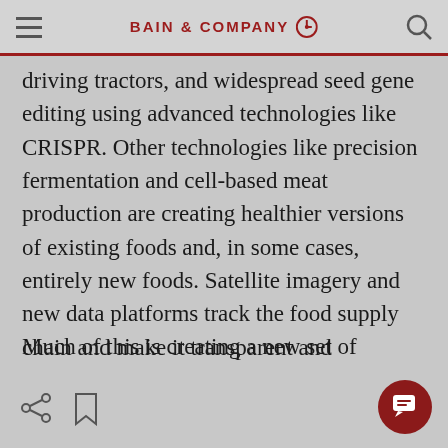BAIN & COMPANY
driving tractors, and widespread seed gene editing using advanced technologies like CRISPR. Other technologies like precision fermentation and cell-based meat production are creating healthier versions of existing foods and, in some cases, entirely new foods. Satellite imagery and new data platforms track the food supply chain and make it transparent and traceable, pulling into one place the wealth of information available.